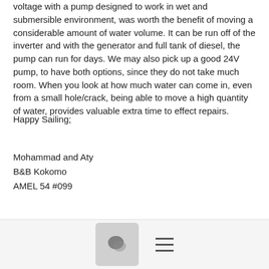voltage with a pump designed to work in wet and submersible environment, was worth the benefit of moving a considerable amount of water volume. It can be run off of the inverter and with the generator and full tank of diesel, the pump can run for days. We may also pick up a good 24V pump, to have both options, since they do not take much room. When you look at how much water can come in, even from a small hole/crack, being able to move a high quantity of water, provides valuable extra time to effect repairs.
Happy Sailing;
Mohammad and Aty
B&B Kokomo
AMEL 54 #099
Show quoted text
More